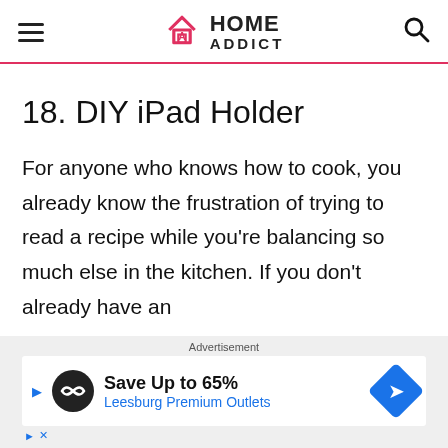HOME ADDICT
18. DIY iPad Holder
For anyone who knows how to cook, you already know the frustration of trying to read a recipe while you’re balancing so much else in the kitchen. If you don’t already have an
[Figure (other): Advertisement banner for Leesburg Premium Outlets: Save Up to 65%]